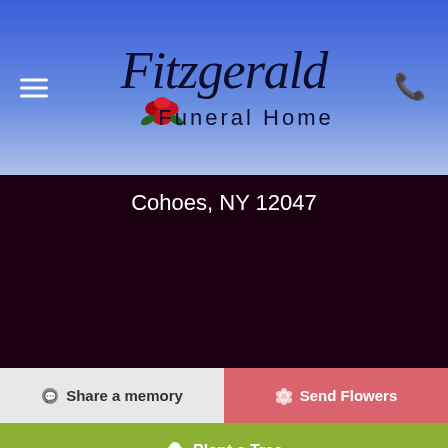[Figure (logo): Fitzgerald Funeral Home logo with rose graphic, script and sans-serif typography on blue gradient header]
Cohoes, NY 12047
Share a memory
Send Flowers
Plant a Tree